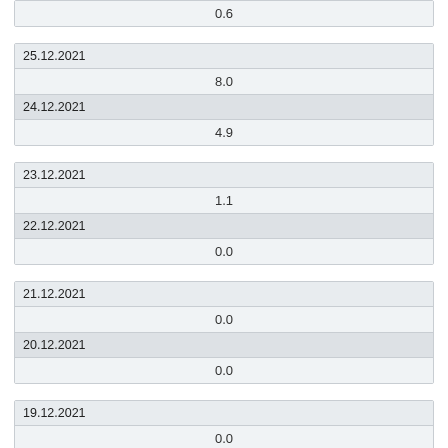| 0.6 |
| 25.12.2021 |
| 8.0 |
| 24.12.2021 |
| 4.9 |
| 23.12.2021 |
| 1.1 |
| 22.12.2021 |
| 0.0 |
| 21.12.2021 |
| 0.0 |
| 20.12.2021 |
| 0.0 |
| 19.12.2021 |
| 0.0 |